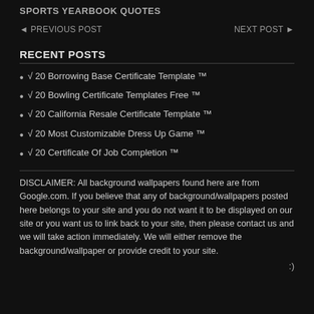SPORTS YEARBOOK QUOTES
◄ PREVIOUS POST    NEXT POST ►
RECENT POSTS
√ 20 Borrowing Base Certificate Template ™
√ 20 Bowling Certificate Templates Free ™
√ 20 California Resale Certificate Template ™
√ 20 Most Customizable Dress Up Game ™
√ 20 Certificate Of Job Completion ™
DISCLAIMER: All background wallpapers found here are from Google.com. If you believe that any of background/wallpapers posted here belongs to your site and you do not want it to be displayed on our site or you want us to link back to your site, then please contact us and we will take action immediately. We will either remove the background/wallpaper or provide credit to your site.
:)